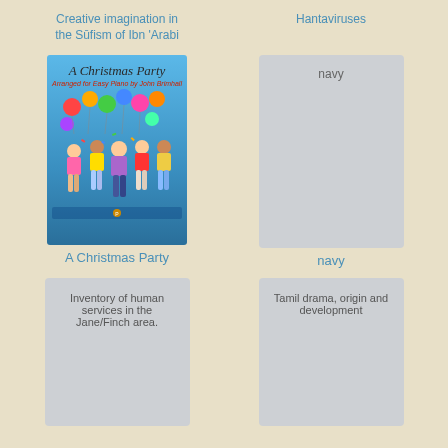Creative imagination in the Sūfism of Ibn 'Arabi
Hantaviruses
[Figure (illustration): Book cover of 'A Christmas Party' showing children dancing and celebrating with colorful balloons on a blue background]
[Figure (illustration): Gray placeholder card with text 'navy']
A Christmas Party
navy
[Figure (illustration): Gray placeholder card with text 'Inventory of human services in the Jane/Finch area.']
[Figure (illustration): Gray placeholder card with text 'Tamil drama, origin and development']